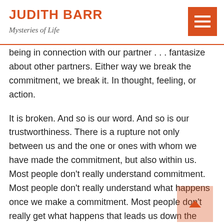JUDITH BARR
Mysteries of Life
being in connection with our partner . . . fantasize about other partners. Either way we break the commitment, we break it. In thought, feeling, or action.
It is broken. And so is our word. And so is our trustworthiness. There is a rupture not only between us and the one or ones with whom we have made the commitment, but also within us. Most people don't really understand commitment. Most people don't really understand what happens once we make a commitment. Most people don't really get what happens that leads us down the path to breaking our commitments . . . or what could happen to prevent the breaking of our commitments.
Let's look at commitment – the breadth and depth of it